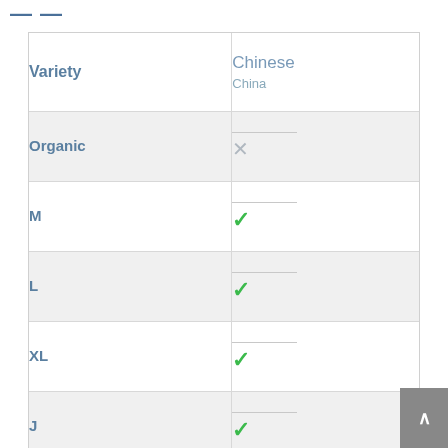| Variety | Chinese / China |
| --- | --- |
| Organic | ✗ |
| M | ✓ |
| L | ✓ |
| XL | ✓ |
| J | ✓ |